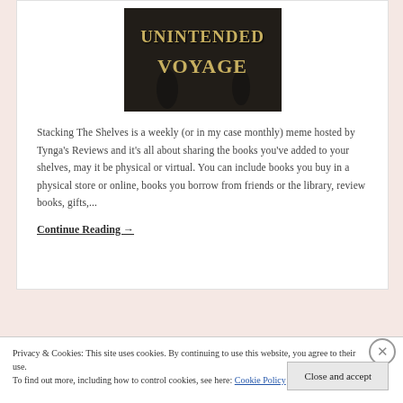[Figure (photo): Book cover showing 'UNINTENDED VOYAGE' in golden distressed lettering on a dark background with people visible]
Stacking The Shelves is a weekly (or in my case monthly) meme hosted by Tynga's Reviews and it's all about sharing the books you've added to your shelves, may it be physical or virtual. You can include books you buy in a physical store or online, books you borrow from friends or the library, review books, gifts,...
Continue Reading →
Privacy & Cookies: This site uses cookies. By continuing to use this website, you agree to their use.
To find out more, including how to control cookies, see here: Cookie Policy
Close and accept